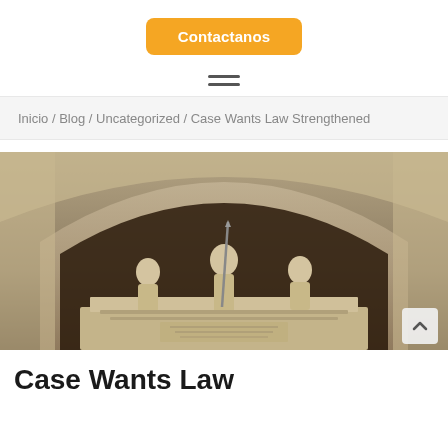[Figure (other): Orange rounded button labeled 'Contactanos']
[Figure (other): Hamburger menu icon with three horizontal lines]
Inicio / Blog / Uncategorized / Case Wants Law Strengthened
[Figure (photo): Photo of classical stone courthouse sculptures under an arch, depicting a central female figure holding a spear/scepter flanked by other figures]
Case Wants Law